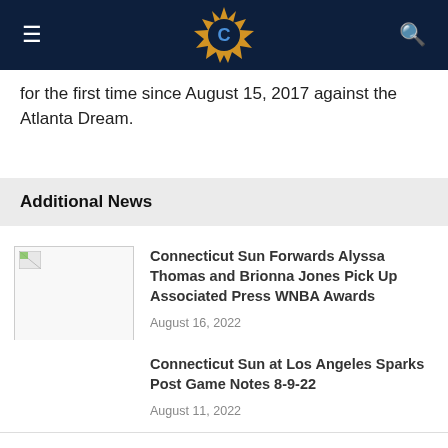Connecticut Sun navigation header with logo, hamburger menu, and search icon
for the first time since August 15, 2017 against the Atlanta Dream.
Additional News
Connecticut Sun Forwards Alyssa Thomas and Brionna Jones Pick Up Associated Press WNBA Awards
August 16, 2022
Connecticut Sun at Los Angeles Sparks Post Game Notes 8-9-22
August 11, 2022